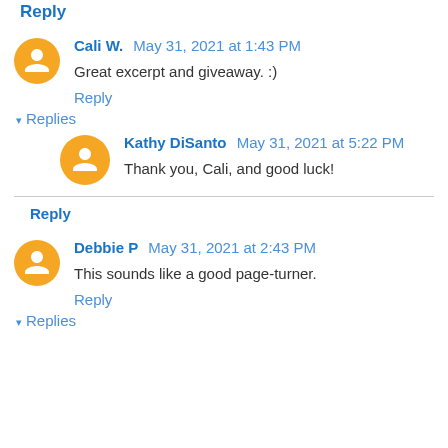Reply
Cali W. May 31, 2021 at 1:43 PM
Great excerpt and giveaway. :)
Reply
▾ Replies
Kathy DiSanto May 31, 2021 at 5:22 PM
Thank you, Cali, and good luck!
Reply
Debbie P May 31, 2021 at 2:43 PM
This sounds like a good page-turner.
Reply
▾ Replies